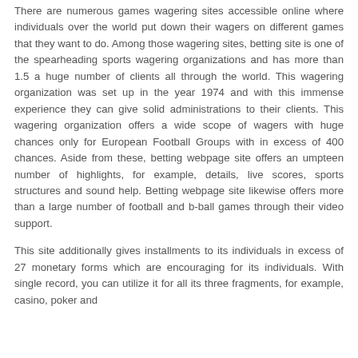There are numerous games wagering sites accessible online where individuals over the world put down their wagers on different games that they want to do. Among those wagering sites, betting site is one of the spearheading sports wagering organizations and has more than 1.5 a huge number of clients all through the world. This wagering organization was set up in the year 1974 and with this immense experience they can give solid administrations to their clients. This wagering organization offers a wide scope of wagers with huge chances only for European Football Groups with in excess of 400 chances. Aside from these, betting webpage site offers an umpteen number of highlights, for example, details, live scores, sports structures and sound help. Betting webpage site likewise offers more than a large number of football and b-ball games through their video support.
This site additionally gives installments to its individuals in excess of 27 monetary forms which are encouraging for its individuals. With single record, you can utilize it for all its three fragments, for example, casino, poker and